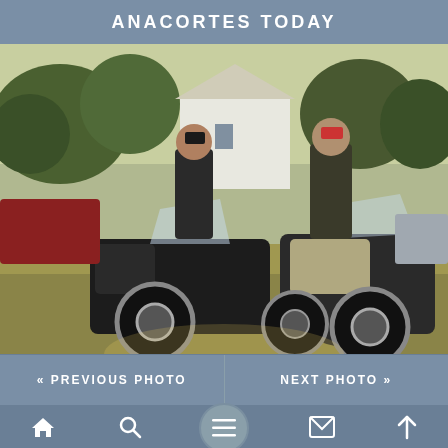ANACORTES TODAY
[Figure (photo): Two motorcyclists in leather jackets and hats standing beside two large motorcycles outdoors on grass, with cars and other people in the background near a white building.]
« PREVIOUS PHOTO
NEXT PHOTO »
[Figure (infographic): Bottom navigation bar with home, search, menu (hamburger), mail, and up-arrow icons.]